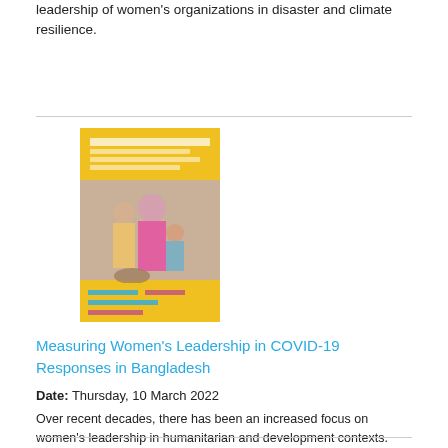leadership of women's organizations in disaster and climate resilience.
[Figure (illustration): Book cover with yellow background showing women in a humanitarian context, with text about measuring women's leadership in COVID-19 responses in Bangladesh]
Measuring Women's Leadership in COVID-19 Responses in Bangladesh
Date: Thursday, 10 March 2022
Over recent decades, there has been an increased focus on women's leadership in humanitarian and development contexts. Evidence highlights the important role of women's leadership in bringing 'invaluable contextual knowledge, skills, resources and experiences to emergency preparedness, response and resilience-building.'